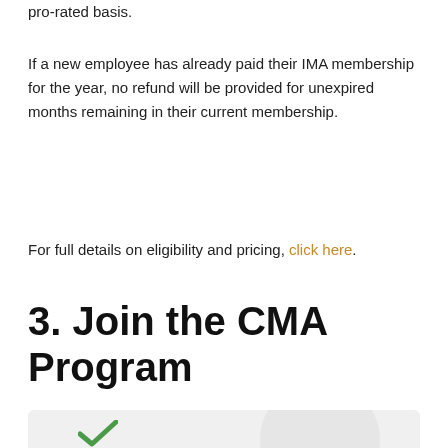pro-rated basis.
If a new employee has already paid their IMA membership for the year, no refund will be provided for unexpired months remaining in their current membership.
For full details on eligibility and pricing, click here.
3. Join the CMA Program
[Figure (illustration): Partial view of a decorative illustration with a circular grey shape and a green checkmark/graphic element, appearing at the bottom of the page.]